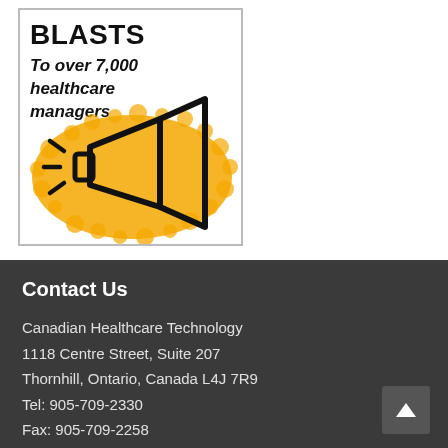[Figure (illustration): Advertisement box with bold text 'BLASTS', italic bold text 'To over 7,000 healthcare managers', and a yellow splatter background with a megaphone/bullhorn icon in black outline.]
Contact Us
Canadian Healthcare Technology
1118 Centre Street, Suite 207
Thornhill, Ontario, Canada L4J 7R9
Tel: 905-709-2330
Fax: 905-709-2258